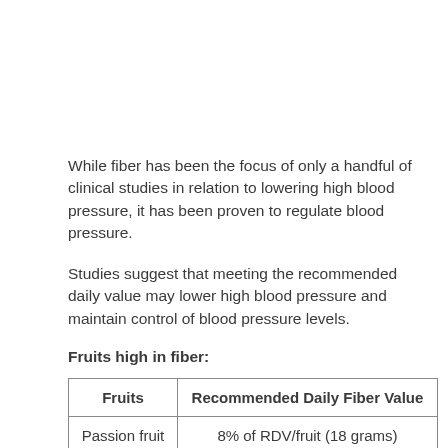While fiber has been the focus of only a handful of clinical studies in relation to lowering high blood pressure, it has been proven to regulate blood pressure.
Studies suggest that meeting the recommended daily value may lower high blood pressure and maintain control of blood pressure levels.
Fruits high in fiber:
| Fruits | Recommended Daily Fiber Value |
| --- | --- |
| Passion fruit | 8% of RDV/fruit (18 grams) |